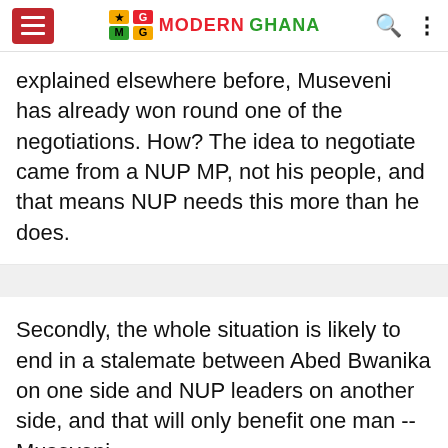Modern Ghana
explained elsewhere before, Museveni has already won round one of the negotiations. How? The idea to negotiate came from a NUP MP, not his people, and that means NUP needs this more than he does.
Secondly, the whole situation is likely to end in a stalemate between Abed Bwanika on one side and NUP leaders on another side, and that will only benefit one man -- Museveni.
Thirdly, if negotiations work out and some few prisoners are released, it's so likely that the guys out will turn against the NUP leadership in favour of